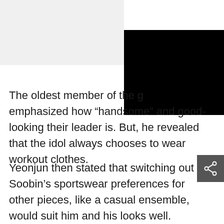[Figure (photo): Top area with light grey background on left and black redacted/image block on the right]
The oldest member of the [redacted] emphasized how “handsome” and good-looking their leader is. But, he revealed that the idol always chooses to wear workout clothes.
Yeonjun then stated that switching out Soobin’s sportswear preferences for other pieces, like a casual ensemble, would suit him and his looks well.